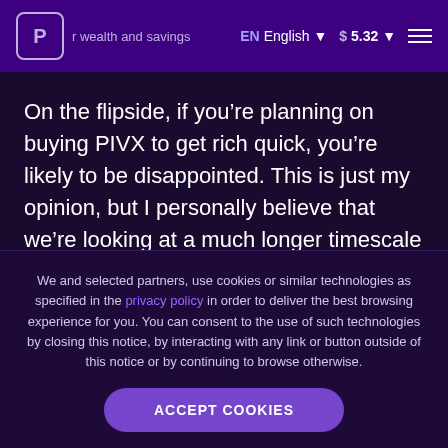r wealth and savings  EN English  $ 5.32
On the flipside, if you’re planning on buying PIVX to get rich quick, you’re likely to be disappointed. This is just my opinion, but I personally believe that we’re looking at a much longer timescale until the next boom cycle hits us. I would take that with a grain of salt,
We and selected partners, use cookies or similar technologies as specified in the privacy policy in order to deliver the best browsing experience for you. You can consent to the use of such technologies by closing this notice, by interacting with any link or button outside of this notice or by continuing to browse otherwise.
ACCEPT COOKIES